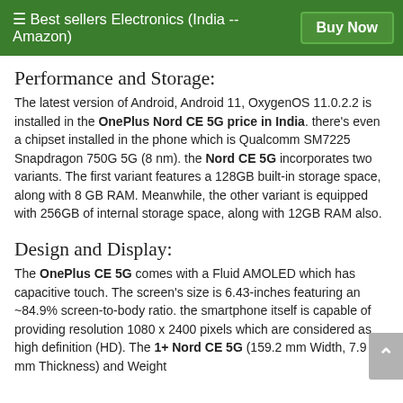☰ Best sellers Electronics (India -- Amazon)   Buy Now
Performance and Storage:
The latest version of Android, Android 11, OxygenOS 11.0.2.2 is installed in the OnePlus Nord CE 5G price in India. there's even a chipset installed in the phone which is Qualcomm SM7225 Snapdragon 750G 5G (8 nm). the Nord CE 5G incorporates two variants. The first variant features a 128GB built-in storage space, along with 8 GB RAM. Meanwhile, the other variant is equipped with 256GB of internal storage space, along with 12GB RAM also.
Design and Display:
The OnePlus CE 5G comes with a Fluid AMOLED which has capacitive touch. The screen's size is 6.43-inches featuring an ~84.9% screen-to-body ratio. the smartphone itself is capable of providing resolution 1080 x 2400 pixels which are considered as high definition (HD). The 1+ Nord CE 5G (159.2 mm Width, 7.9 mm Thickness) and Weight